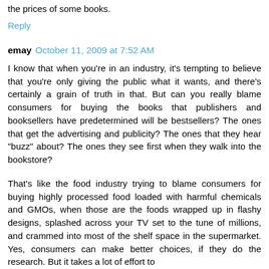the prices of some books.
Reply
emay  October 11, 2009 at 7:52 AM
I know that when you're in an industry, it's tempting to believe that you're only giving the public what it wants, and there's certainly a grain of truth in that. But can you really blame consumers for buying the books that publishers and booksellers have predetermined will be bestsellers? The ones that get the advertising and publicity? The ones that they hear "buzz" about? The ones they see first when they walk into the bookstore?
That's like the food industry trying to blame consumers for buying highly processed food loaded with harmful chemicals and GMOs, when those are the foods wrapped up in flashy designs, splashed across your TV set to the tune of millions, and crammed into most of the shelf space in the supermarket. Yes, consumers can make better choices, if they do the research. But it takes a lot of effort to